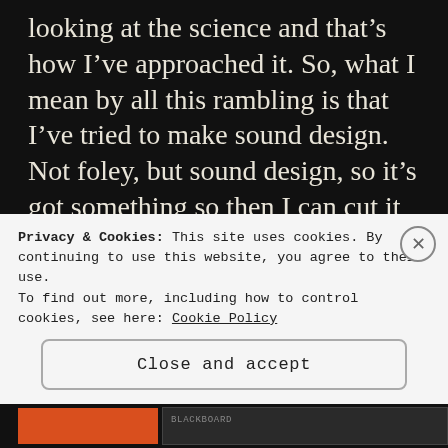looking at the science and that's how I've approached it. So, what I mean by all this rambling is that I've tried to make sound design. Not foley, but sound design, so it's got something so then I can cut it and have silence that feels like...ah I can have a break. So, it's not just wall to wall music and the Opera North aren't just singing from start to end because that would be too much, I think
Privacy & Cookies: This site uses cookies. By continuing to use this website, you agree to their use. To find out more, including how to control cookies, see here: Cookie Policy
Close and accept